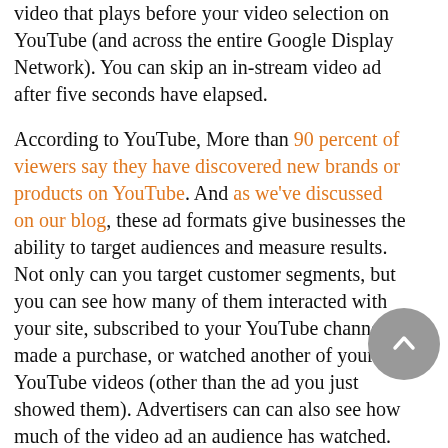video that plays before your video selection on YouTube (and across the entire Google Display Network). You can skip an in-stream video ad after five seconds have elapsed.

According to YouTube, More than 90 percent of viewers say they have discovered new brands or products on YouTube. And as we've discussed on our blog, these ad formats give businesses the ability to target audiences and measure results. Not only can you target customer segments, but you can see how many of them interacted with your site, subscribed to your YouTube channel, made a purchase, or watched another of your YouTube videos (other than the ad you just showed them). Advertisers can can also see how much of the video ad an audience has watched. Doing so allows advertisers to determine if a video ad is too long, how much of the video a person watches before